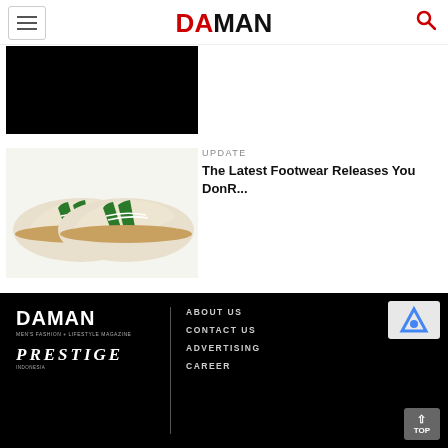[Figure (logo): DA MAN magazine logo with DA in red and MAN in black bold text]
[Figure (photo): Black rectangle placeholder image for article]
UPDATE
The Latest Footwear Releases You DonR...
[Figure (photo): Cream/beige sneakers with green stripes on gum sole]
[Figure (logo): DA MAN footer logo in white, MEN'S FASHION + LIFESTYLE MAGAZINE tagline, PRESTIGE INDONESIA logo]
ABOUT US
CONTACT US
ADVERTISING
CAREER